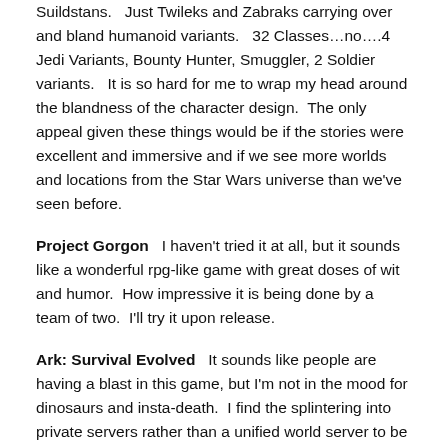Suildstans.   Just Twileks and Zabraks carrying over and bland humanoid variants.   32 Classes…no….4 Jedi Variants, Bounty Hunter, Smuggler, 2 Soldier variants.   It is so hard for me to wrap my head around the blandness of the character design.  The only appeal given these things would be if the stories were excellent and immersive and if we see more worlds and locations from the Star Wars universe than we've seen before.
Project Gorgon   I haven't tried it at all, but it sounds like a wonderful rpg-like game with great doses of wit and humor.  How impressive it is being done by a team of two.  I'll try it upon release.
Ark: Survival Evolved   It sounds like people are having a blast in this game, but I'm not in the mood for dinosaurs and insta-death.  I find the splintering into private servers rather than a unified world server to be game-breaking